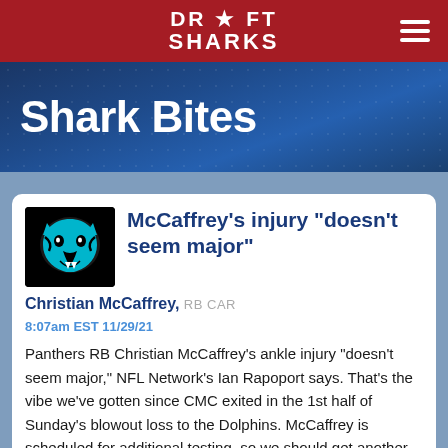Draft Sharks
Shark Bites
McCaffrey's injury "doesn't seem major"
Christian McCaffrey, RB CAR
8:07am EST 11/29/21
Panthers RB Christian McCaffrey's ankle injury "doesn't seem major," NFL Network's Ian Rapoport says. That's the vibe we've gotten since CMC exited in the 1st half of Sunday's blowout loss to the Dolphins. McCaffrey is scheduled for additional testing, so we should get another update on his